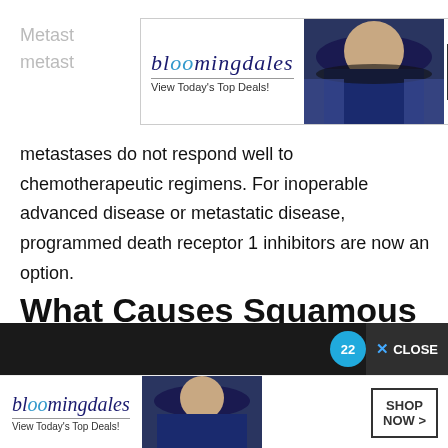[Figure (other): Bloomingdale's advertisement banner at top with logo, model in hat, and SHOP NOW button]
metastases do not respond well to chemotherapeutic regimens. For inoperable advanced disease or metastatic disease, programmed death receptor 1 inhibitors are now an option.
What Causes Squamous Cell Cancer
[Figure (other): Video countdown bar showing 22 seconds remaining with CLOSE button, and Bloomingdale's advertisement banner below]